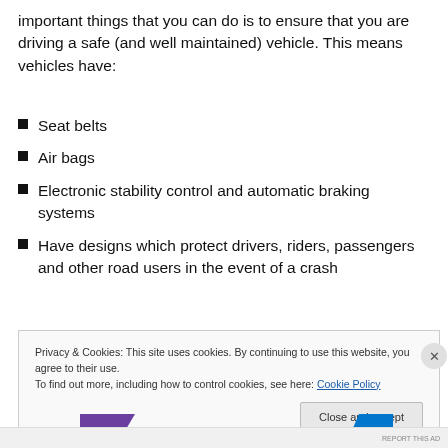important things that you can do is to ensure that you are driving a safe (and well maintained) vehicle. This means vehicles have:
Seat belts
Air bags
Electronic stability control and automatic braking systems
Have designs which protect drivers, riders, passengers and other road users in the event of a crash
Privacy & Cookies: This site uses cookies. By continuing to use this website, you agree to their use. To find out more, including how to control cookies, see here: Cookie Policy
Close and accept